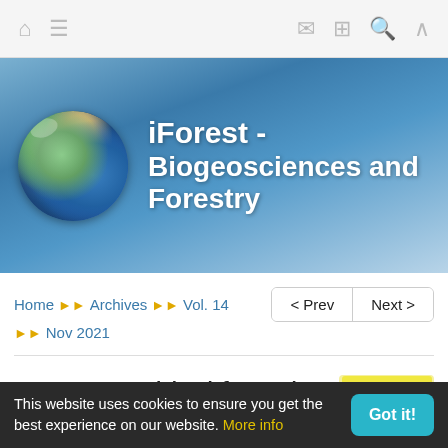iForest - Biogeosciences and Forestry — navigation bar with home, menu, mail, grid, search, up icons
[Figure (screenshot): iForest - Biogeosciences and Forestry journal banner with globe logo on blue gradient background]
Home >> Archives >> Vol. 14 >> Nov 2021
Ectomycorrhizal fungal community in mature white
[Figure (pie-chart): Thumbnail pie chart image showing multiple colored segments on yellow background]
This website uses cookies to ensure you get the best experience on our website. More info